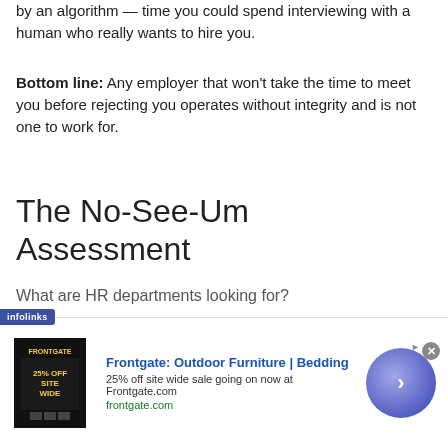by an algorithm — time you could spend interviewing with a human who really wants to hire you.
Bottom line: Any employer that won't take the time to meet you before rejecting you operates without integrity and is not one to work for.
The No-See-Um Assessment
What are HR departments looking for?
[Figure (illustration): A maze puzzle image with pink highlighted path elements]
[Figure (other): Frontgate advertisement: Outdoor Furniture | Bedding. 25% off site wide sale going on now at Frontgate.com. frontgate.com]